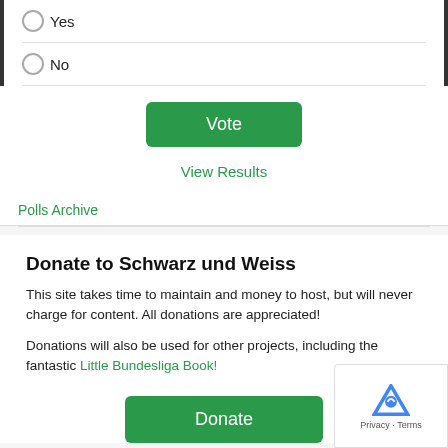Yes
No
Vote
View Results
Polls Archive
Donate to Schwarz und Weiss
This site takes time to maintain and money to host, but will never charge for content. All donations are appreciated!
Donations will also be used for other projects, including the fantastic Little Bundesliga Book!
Donate